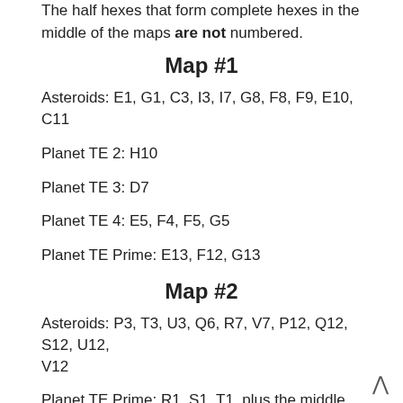The half hexes that form complete hexes in the middle of the maps are not numbered.
Map #1
Asteroids: E1, G1, C3, I3, I7, G8, F8, F9, E10, C11
Planet TE 2: H10
Planet TE 3: D7
Planet TE 4: E5, F4, F5, G5
Planet TE Prime: E13, F12, G13
Map #2
Asteroids: P3, T3, U3, Q6, R7, V7, P12, Q12, S12, U12, V12
Planet TE Prime: R1, S1, T1, plus the middle spot
Planets TE 5 & 6: S4, S5
Planet TE 7: R9, S8, S9, T9